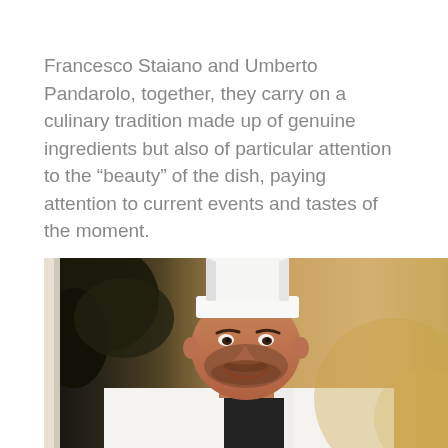Francesco Staiano and Umberto Pandarolo, together, they carry on a culinary tradition made up of genuine ingredients but also of particular attention to the “beauty” of the dish, paying attention to current events and tastes of the moment.
[Figure (photo): A smiling chef wearing a tall white chef's hat and white chef's uniform, with a dark beard, photographed against a warm golden/beige background with dark trees visible on the left side.]